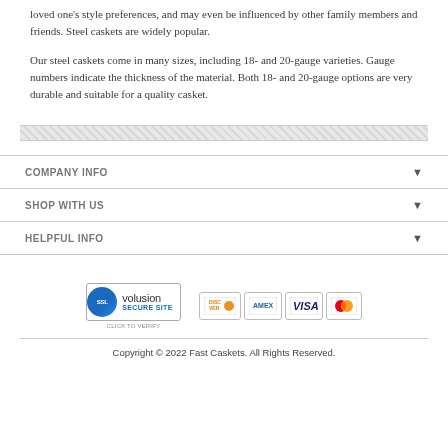loved one's style preferences, and may even be influenced by other family members and friends. Steel caskets are widely popular.
Our steel caskets come in many sizes, including 18- and 20-gauge varieties. Gauge numbers indicate the thickness of the material. Both 18- and 20-gauge options are very durable and suitable for a quality casket.
COMPANY INFO
SHOP WITH US
HELPFUL INFO
[Figure (logo): SSL Volusion Secure Site badge and payment card logos (Discover, Amex, Visa, Mastercard)]
Copyright © 2022 Fast Caskets. All Rights Reserved.